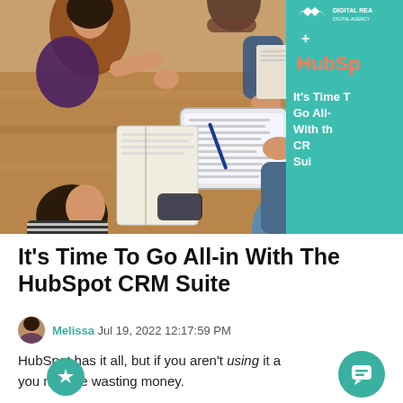[Figure (photo): Hero image showing people collaborating around a table with tablets and notebooks, overlaid with a teal panel showing Digital Reach + HubSpot branding and text 'It's Time To Go All-in With the CRM Suite']
It's Time To Go All-in With The HubSpot CRM Suite
Melissa Jul 19, 2022 12:17:59 PM
HubSpot has it all, but if you aren't using it all, you may be wasting money.